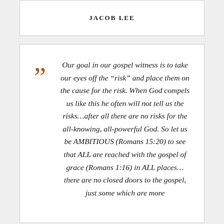JACOB LEE
Our goal in our gospel witness is to take our eyes off the “risk” and place them on the cause for the risk. When God compels us like this he often will not tell us the risks…after all there are no risks for the all-knowing, all-powerful God. So let us be AMBITIOUS (Romans 15:20) to see that ALL are reached with the gospel of grace (Romans 1:16) in ALL places…there are no closed doors to the gospel, just some which are more